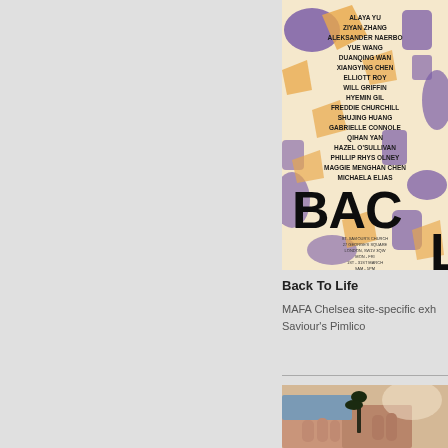[Figure (illustration): Exhibition poster for 'Back To Life' - MAFA Chelsea site-specific show. Cream/tan background with purple and orange abstract shapes. Names of artists listed in black bold text: ALAYA YU, ZIYAN ZHANG, ALEKSANDER NAERBO, YUE WANG, DUANQING WAN, XIANGYING CHEN, ELLIOTT ROY, WILL GRIFFIN, HYEMIN GIL, FREDDIE CHURCHILL, SHUJING HUANG, GABRIELLE CONNOLE, QIHAN YAN, HAZEL O'SULLIVAN, PHILLIP RHYS OLNEY, MAGGIE MENGHAN CHEN, MICHAELA ELIAS. Large text 'BAC' and 'L' at bottom. Venue details: ST. SAVIOUR'S CHURCH, 27 GEORGE'S SQUARE, LONDON, SW1V 3QW, MON-FRI, 1ST-31ST MARCH, 9AM-5PM.]
Back To Life
MAFA Chelsea site-specific exhibition at St. Saviour's Pimlico
[Figure (photo): Close-up photo of hands holding a plant or seedling, with blurred background.]